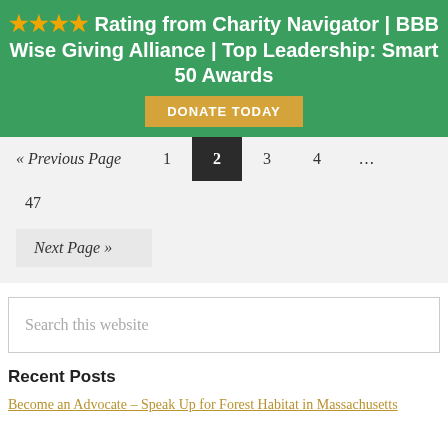[Figure (infographic): Green banner with 4 gold stars and bold white text: '★★★★ Rating from Charity Navigator | BBB Wise Giving Alliance | Top Leadership: Smart 50 Awards' with an orange 'DONATE TODAY' button]
« Previous Page  1  2  3  4  ...  47
Next Page »
Search this website
Recent Posts
Become an Advocate – Speak Up for Forest Habitat in Massachusetts